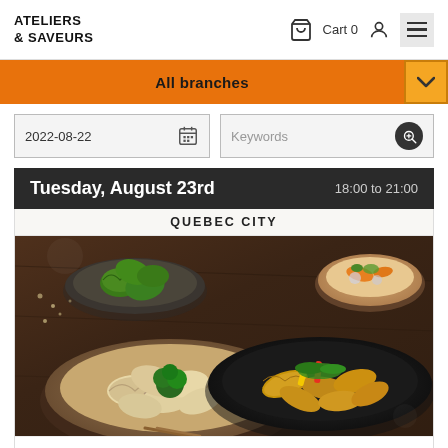ATELIERS & SAVEURS — Cart 0
All branches
2022-08-22   Keywords
Tuesday, August 23rd   18:00 to 21:00
QUEBEC CITY
[Figure (photo): Overhead photo of Asian dumplings: steamed green dumplings in a dark bowl, pan-fried gyoza with colorful vegetables on a black plate, boiled dumplings with broccoli in a brown bowl, and a side soup bowl, all on a dark wooden surface.]
AUTHENTICITY OF HOMEMADE